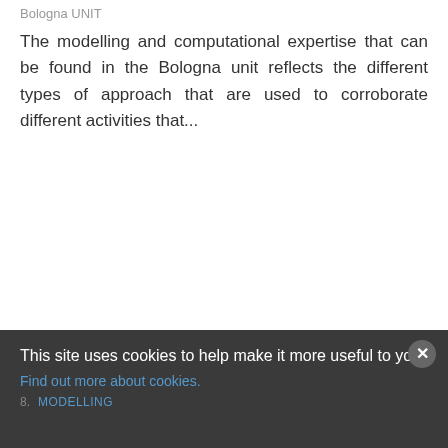Bologna UNIT
The modelling and computational expertise that can be found in the Bologna unit reflects the different types of approach that are used to corroborate different activities that...
This site uses cookies to help make it more useful to you.
Find out more about cookies.
MODELLING